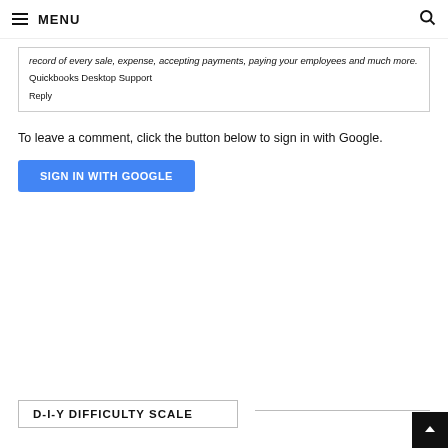MENU
record of every sale, expense, accepting payments, paying your employees and much more.
Quickbooks Desktop Support

Reply
To leave a comment, click the button below to sign in with Google.
[Figure (other): Blue 'SIGN IN WITH GOOGLE' button]
D-I-Y DIFFICULTY SCALE